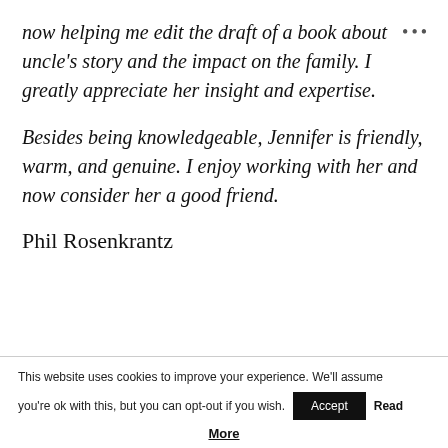now helping me edit the draft of a book about uncle's story and the impact on the family. I greatly appreciate her insight and expertise.
Besides being knowledgeable, Jennifer is friendly, warm, and genuine. I enjoy working with her and now consider her a good friend.
Phil Rosenkrantz
This website uses cookies to improve your experience. We'll assume you're ok with this, but you can opt-out if you wish. Accept Read More